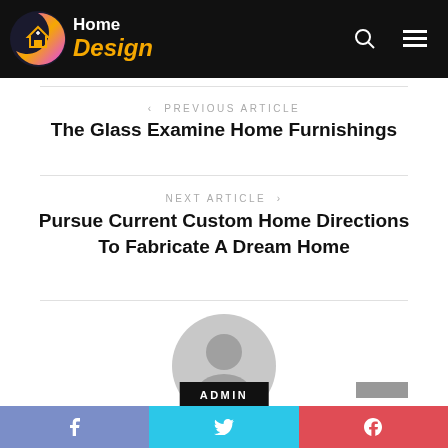Home Design
PREVIOUS ARTICLE
The Glass Examine Home Furnishings
NEXT ARTICLE
Pursue Current Custom Home Directions To Fabricate A Dream Home
[Figure (illustration): Generic user avatar icon in gray]
ADMIN